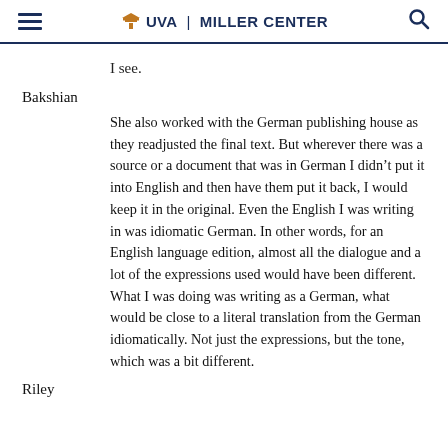UVA | MILLER CENTER
I see.
Bakshian
She also worked with the German publishing house as they readjusted the final text. But wherever there was a source or a document that was in German I didn’t put it into English and then have them put it back, I would keep it in the original. Even the English I was writing in was idiomatic German. In other words, for an English language edition, almost all the dialogue and a lot of the expressions used would have been different. What I was doing was writing as a German, what would be close to a literal translation from the German idiomatically. Not just the expressions, but the tone, which was a bit different.
Riley